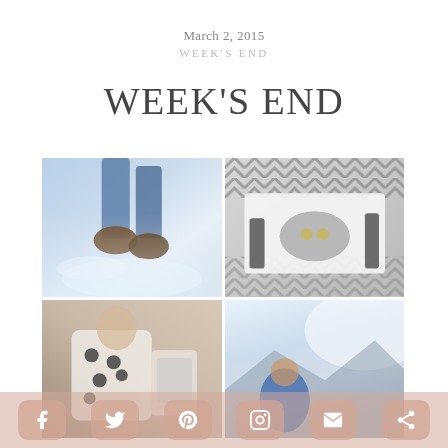March 2, 2015
WEEK'S END
WEEK'S END
[Figure (photo): A 2x2 photo collage: top-left shows boots standing in snow from above; top-right shows a flat-lay of clothing/accessories in a box with chevron pattern; bottom-left shows a child or person with polka dot clothing and a phone/book; bottom-right shows a person outdoors in a bright winter scene.]
Social sharing bar with icons: Facebook, Twitter, Pinterest, Instagram, Email, Share